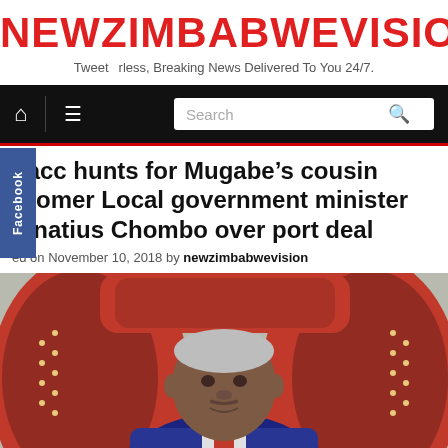NEWZIMBABWEVISION
Tweet   rless, Breaking News Delivered To You 24/7.
Zacc hunts for Mugabe’s cousin Fromer Local government minister Ignatius Chombo over port deal
ed on November 10, 2018 by newzimbabwevision
[Figure (photo): Man in suit sitting in red leather chair, photo of Ignatius Chombo]